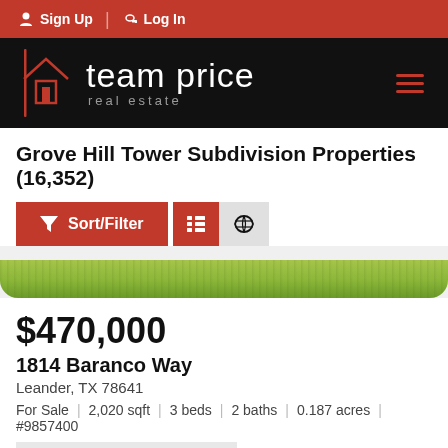Sign Up | Log In
[Figure (logo): Team Price Real Estate logo on black background with hamburger menu icon]
Grove Hill Tower Subdivision Properties (16,352)
$470,000
1814 Baranco Way
Leander, TX 78641
For Sale | 2,020 sqft | 3 beds | 2 baths | 0.187 acres | #9857400
Listed Thursday at 5:09PM